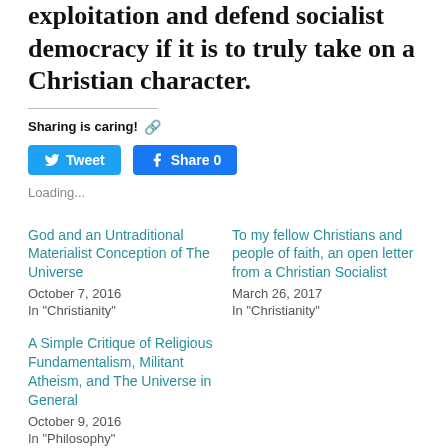exploitation and defend socialist democracy if it is to truly take on a Christian character.
Sharing is caring! 🔗
[Figure (screenshot): Tweet and Facebook Share 0 social sharing buttons]
Loading...
God and an Untraditional Materialist Conception of The Universe
October 7, 2016
In "Christianity"
To my fellow Christians and people of faith, an open letter from a Christian Socialist
March 26, 2017
In "Christianity"
A Simple Critique of Religious Fundamentalism, Militant Atheism, and The Universe in General
October 9, 2016
In "Philosophy"